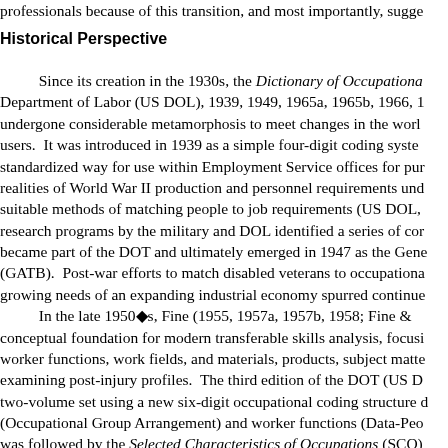professionals because of this transition, and most importantly, sugge
Historical Perspective
Since its creation in the 1930s, the Dictionary of Occupational... Department of Labor (US DOL), 1939, 1949, 1965a, 1965b, 1966, 1... undergone considerable metamorphosis to meet changes in the worl... users. It was introduced in 1939 as a simple four-digit coding syste... standardized way for use within Employment Service offices for pur... realities of World War II production and personnel requirements und... suitable methods of matching people to job requirements (US DOL,... research programs by the military and DOL identified a series of cor... became part of the DOT and ultimately emerged in 1947 as the Gen... (GATB). Post-war efforts to match disabled veterans to occupationa... growing needs of an expanding industrial economy spurred continue... In the late 1950s, Fine (1955, 1957a, 1957b, 1958; Fine &... conceptual foundation for modern transferable skills analysis, focusi... worker functions, work fields, and materials, products, subject matte... examining post-injury profiles. The third edition of the DOT (US D... two-volume set using a new six-digit occupational coding structure d... (Occupational Group Arrangement) and worker functions (Data-Peo... was followed by the Selected Characteristics of Occupations (SCO)... landmark release for the vocational industry, because it opened the d... encouraged by the Social Security Administration (SSA). It also tri... significant number of commercial vocational evaluation systems. Th... produced to assist professionals with disability evaluation. In 1972...